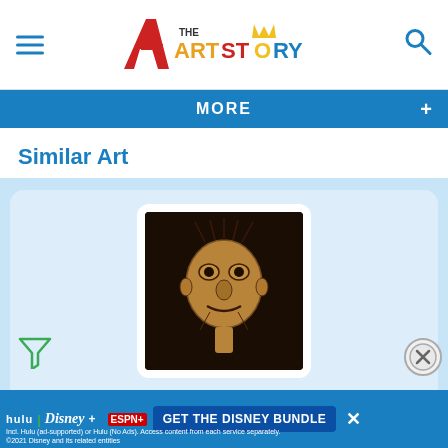[Figure (logo): The Art Story website logo with colorful lettering]
MORE +
Similar Art
[Figure (photo): Painting showing a distorted, expressive face portrait by Jean Dubuffet - Grand Maitre of the Outsider (1947)]
Grand Maitre of the Outsider (1947)
Jean Dubuffet
[Figure (infographic): Advertisement banner: GET THE DISNEY BUNDLE - hulu, Disney+, ESPN+. Incl. Hulu (ad-supported) or Hulu (No Ads). Access content from each service separately. ©2021 Disney and its related entities]